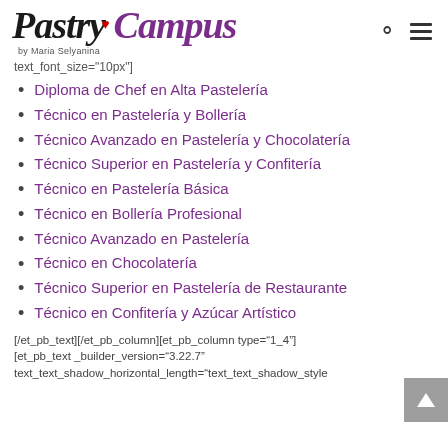[Figure (logo): Pastry Campus by Maria Selyanina logo with search and menu icons]
text_font_size="10px"]
Diploma de Chef en Alta Pastelería
Técnico en Pastelería y Bollería
Técnico Avanzado en Pastelería y Chocolatería
Técnico Superior en Pastelería y Confitería
Técnico en Pastelería Básica
Técnico en Bollería Profesional
Técnico Avanzado en Pastelería
Técnico en Chocolatería
Técnico Superior en Pastelería de Restaurante
Técnico en Confitería y Azúcar Artístico
[/et_pb_text][/et_pb_column][et_pb_column type="1_4"]
[et_pb_text _builder_version="3.22.7"
text_text_shadow_horizontal_length="text_text_shadow_style
[Figure (other): Grey scroll-to-top button with upward arrow]